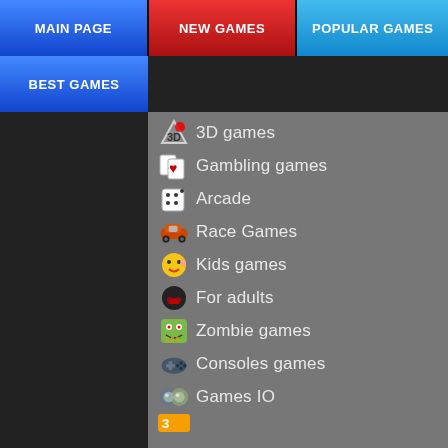MAIN PAGE | NEW GAMES | POPULAR GAMES
BEST GAMES
3D games
Gambling games
Arcade
Race Games
Kids games
For adults
Zombie games
Consoles games
Games IO